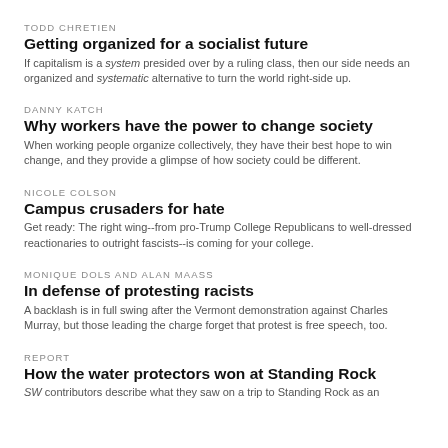TODD CHRETIEN
Getting organized for a socialist future
If capitalism is a system presided over by a ruling class, then our side needs an organized and systematic alternative to turn the world right-side up.
DANNY KATCH
Why workers have the power to change society
When working people organize collectively, they have their best hope to win change, and they provide a glimpse of how society could be different.
NICOLE COLSON
Campus crusaders for hate
Get ready: The right wing--from pro-Trump College Republicans to well-dressed reactionaries to outright fascists--is coming for your college.
MONIQUE DOLS AND ALAN MAASS
In defense of protesting racists
A backlash is in full swing after the Vermont demonstration against Charles Murray, but those leading the charge forget that protest is free speech, too.
REPORT
How the water protectors won at Standing Rock
SW contributors describe what they saw on a trip to Standing Rock as an